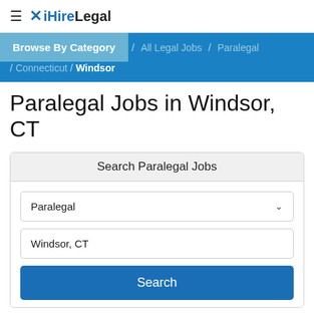≡ iHireLegal
Browse By Category / All Legal Jobs / Paralegal / Connecticut / Windsor
Paralegal Jobs in Windsor, CT
Search Paralegal Jobs
Paralegal [dropdown]
Windsor, CT
Search
1-15 of 16 Jobs